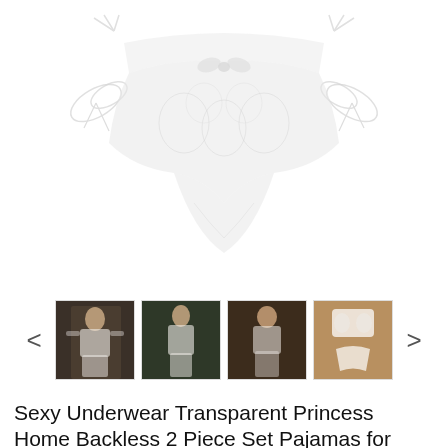[Figure (photo): Product photo of white lacy lingerie panties/underwear with ribbon ties on sides, shown on white background, slightly blurred/transparent fabric]
[Figure (photo): Row of 4 thumbnail product photos showing women wearing white lacy lingerie set (bralette and panties). Navigation arrows (< >) on either side.]
Sexy Underwear Transparent Princess Home Backless 2 Piece Set Pajamas for Women Sleep